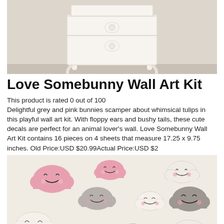[Figure (photo): White ornate nightstand/side table against a light beige wall, partially cropped at top of page]
Love Somebunny Wall Art Kit
This product is rated 0 out of 100
Delightful grey and pink bunnies scamper about whimsical tulips in this playful wall art kit. With floppy ears and bushy tails, these cute decals are perfect for an animal lover's wall. Love Somebunny Wall Art Kit contains 16 pieces on 4 sheets that measure 17.25 x 9.75 inches. Old Price:USD $20.99Actual Price:USD $2
[Figure (photo): Product image showing cute cloud wall decals with sleepy faces and rosy cheeks in pink, grey, and white on a light background]